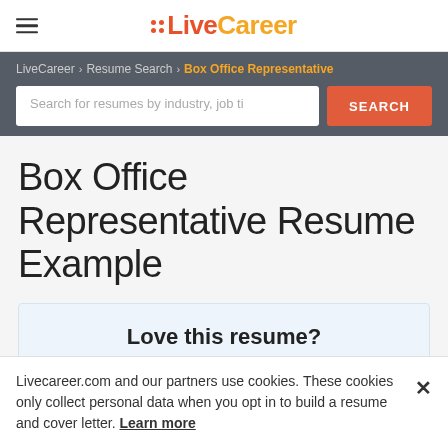LiveCareer
LiveCareer > Resume Search > Box Office Representative
Search for resumes by industry, job ti
Box Office Representative Resume Example
Love this resume?
Livecareer.com and our partners use cookies. These cookies only collect personal data when you opt in to build a resume and cover letter. Learn more